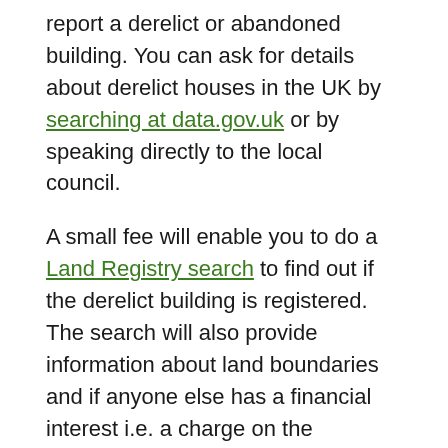report a derelict or abandoned building. You can ask for details about derelict houses in the UK by searching at data.gov.uk or by speaking directly to the local council.
A small fee will enable you to do a Land Registry search to find out if the derelict building is registered. The search will also provide information about land boundaries and if anyone else has a financial interest i.e. a charge on the property.
Unregistered derelict buildings